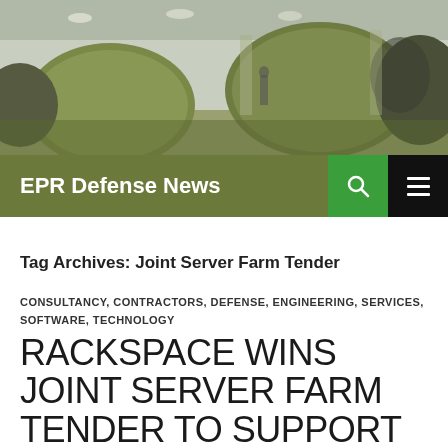[Figure (photo): Aircraft fuselage sections in a manufacturing facility, green/olive colored components on an assembly floor with industrial ceiling visible.]
EPR Defense News
Tag Archives: Joint Server Farm Tender
CONSULTANCY, CONTRACTORS, DEFENSE, ENGINEERING, SERVICES, SOFTWARE, TECHNOLOGY
RACKSPACE WINS JOINT SERVER FARM TENDER TO SUPPORT MINISTRY OF DEFENCE (MOD) WEBSITES